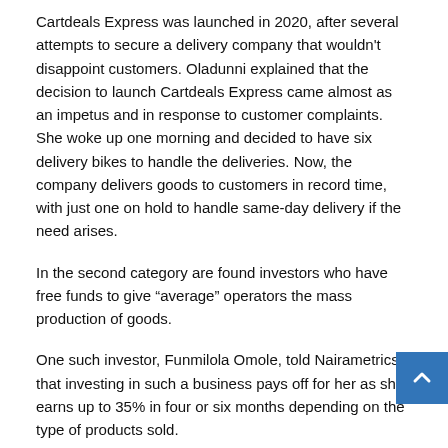Cartdeals Express was launched in 2020, after several attempts to secure a delivery company that wouldn't disappoint customers. Oladunni explained that the decision to launch Cartdeals Express came almost as an impetus and in response to customer complaints. She woke up one morning and decided to have six delivery bikes to handle the deliveries. Now, the company delivers goods to customers in record time, with just one on hold to handle same-day delivery if the need arises.
In the second category are found investors who have free funds to give “average” operators the mass production of goods.
One such investor, Funmilola Omole, told Nairametrics that investing in such a business pays off for her as she earns up to 35% in four or six months depending on the type of products sold.
She said, “I haven’t had any regrets since investing in such a